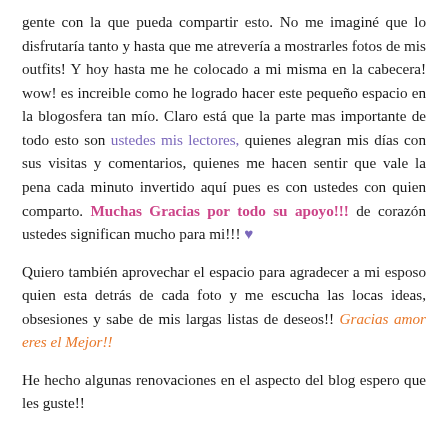gente con la que pueda compartir esto. No me imaginé que lo disfrutaría tanto y hasta que me atrevería a mostrarles fotos de mis outfits! Y hoy hasta me he colocado a mi misma en la cabecera! wow! es increible como he logrado hacer este pequeño espacio en la blogosfera tan mío. Claro está que la parte mas importante de todo esto son ustedes mis lectores, quienes alegran mis días con sus visitas y comentarios, quienes me hacen sentir que vale la pena cada minuto invertido aquí pues es con ustedes con quien comparto. Muchas Gracias por todo su apoyo!!! de corazón ustedes significan mucho para mi!!! ♥
Quiero también aprovechar el espacio para agradecer a mi esposo quien esta detrás de cada foto y me escucha las locas ideas, obsesiones y sabe de mis largas listas de deseos!! Gracias amor eres el Mejor!!
He hecho algunas renovaciones en el aspecto del blog espero que les guste!!